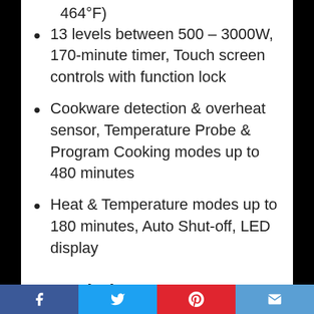464°F)
13 levels between 500 – 3000W, 170-minute timer, Touch screen controls with function lock
Cookware detection & overheat sensor, Temperature Probe & Program Cooking modes up to 480 minutes
Heat & Temperature modes up to 180 minutes, Auto Shut-off, LED display
Description